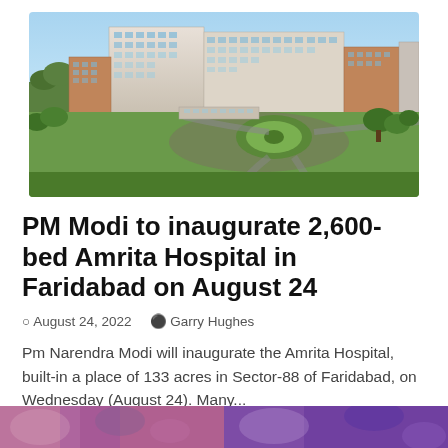[Figure (photo): Aerial/perspective rendering of Amrita Hospital building in Faridabad — a large modern hospital complex with multiple wings, curved driveway, green landscaping, and blue sky backdrop.]
PM Modi to inaugurate 2,600-bed Amrita Hospital in Faridabad on August 24
August 24, 2022   Garry Hughes
Pm Narendra Modi will inaugurate the Amrita Hospital, built-in a place of 133 acres in Sector-88 of Faridabad, on Wednesday (August 24). Many...